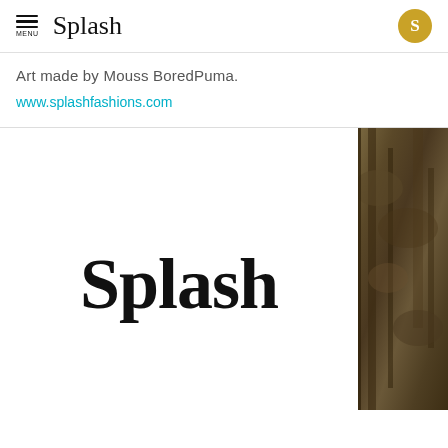Splash
Art made by Mouss BoredPuma.
www.splashfashions.com
[Figure (logo): Large Splash logo text in bold serif font, with a nature/tree photograph visible on the right edge of the page]
[Figure (photo): Partial nature/tree photograph on the right side of the lower section]